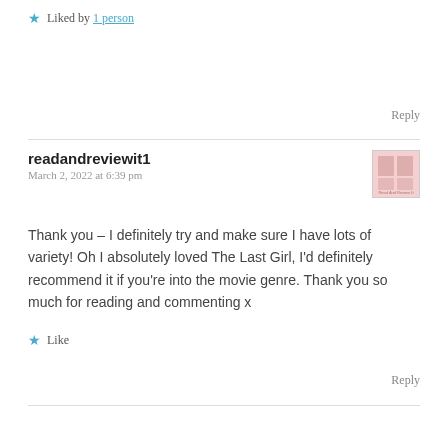★ Liked by 1 person
Reply
readandreviewit1
March 2, 2022 at 6:39 pm
Thank you – I definitely try and make sure I have lots of variety! Oh I absolutely loved The Last Girl, I'd definitely recommend it if you're into the movie genre. Thank you so much for reading and commenting x
★ Like
Reply